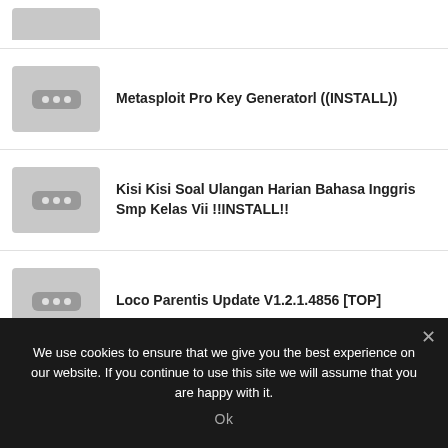[Figure (illustration): Partial thumbnail image placeholder (top, cropped)]
Metasploit Pro Key Generatorl ((INSTALL))
Kisi Kisi Soal Ulangan Harian Bahasa Inggris Smp Kelas Vii !!INSTALL!!
Loco Parentis Update V1.2.1.4856 [TOP]
Plan Contable General Empresarial.pdf ##BEST##
We use cookies to ensure that we give you the best experience on our website. If you continue to use this site we will assume that you are happy with it.
Ok